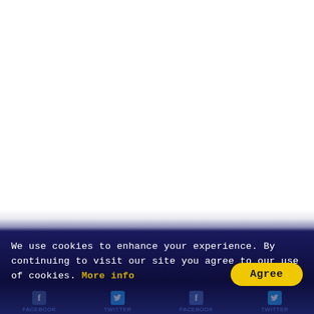[Figure (screenshot): White background area taking up the top portion of the page, representing a webpage content area above a cookie consent banner.]
We use cookies to enhance your experience. By continuing to visit our site you agree to our use of cookies. More info
[Figure (screenshot): Agree button — yellow rounded pill-shaped button with bold black text 'Agree']